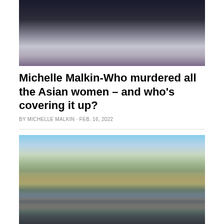[Figure (photo): Dark, blurry image of a person or figure against a dark background]
Michelle Malkin-Who murdered all the Asian women – and who's covering it up?
BY MICHELLE MALKIN · FEB. 16, 2022
[Figure (photo): Aerial cityscape photo of Boise, Idaho with mountains in the background under a blue sky]